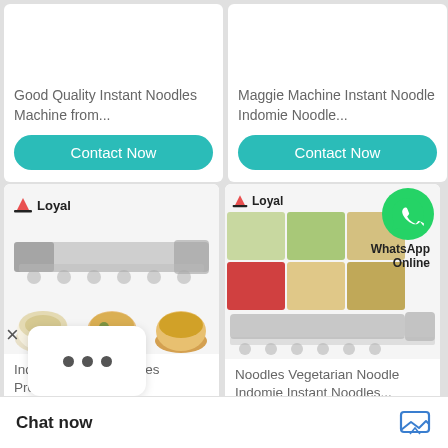Good Quality Instant Noodles Machine from...
Contact Now
Maggie Machine Instant Noodle Indomie Noodle...
Contact Now
[Figure (photo): Industrial noodle production machine with Loyal logo, and three bowls of noodles below it]
Indomie Instant Noodles Production...
[Figure (photo): Loyal brand collage of noodle products and machine with WhatsApp Online badge]
Noodles Vegetarian Noodle Indomie Instant Noodles...
Contact Now
Chat now